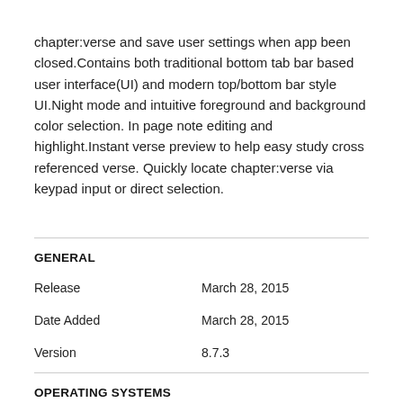chapter:verse and save user settings when app been closed.Contains both traditional bottom tab bar based user interface(UI) and modern top/bottom bar style UI.Night mode and intuitive foreground and background color selection. In page note editing and highlight.Instant verse preview to help easy study cross referenced verse. Quickly locate chapter:verse via keypad input or direct selection.
GENERAL
| Release | March 28, 2015 |
| Date Added | March 28, 2015 |
| Version | 8.7.3 |
OPERATING SYSTEMS
| Operating Systems | iOS |